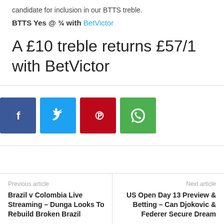candidate for inclusion in our BTTS treble.
BTTS Yes @ ¾ with BetVictor
A £10 treble returns £57/1 with BetVictor
[Figure (infographic): Social share buttons: Facebook (blue), Twitter (light blue), Pinterest (red), WhatsApp (green)]
Previous article
Brazil v Colombia Live Streaming – Dunga Looks To Rebuild Broken Brazil
Next article
US Open Day 13 Preview & Betting – Can Djokovic & Federer Secure Dream